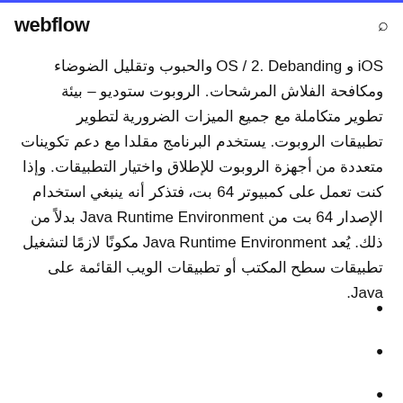webflow
iOS و OS / 2. Debanding والحبوب وتقليل الضوضاء ومكافحة الفلاش المرشحات. الروبوت ستوديو – بيئة تطوير متكاملة مع جميع الميزات الضرورية لتطوير تطبيقات الروبوت. يستخدم البرنامج مقلدا مع دعم تكوينات متعددة من أجهزة الروبوت للإطلاق واختيار التطبيقات. وإذا كنت تعمل على كمبيوتر 64 بت، فتذكر أنه ينبغي استخدام الإصدار 64 بت من Java Runtime Environment بدلاً من ذلك. يُعد Java Runtime Environment مكونًا لازمًا لتشغيل تطبيقات سطح المكتب أو تطبيقات الويب القائمة على Java.